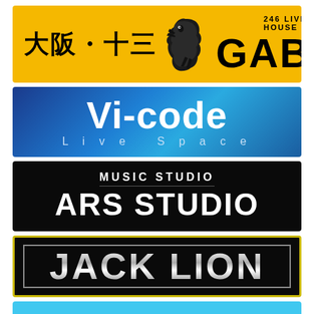[Figure (logo): GABU 246 LIVE HOUSE logo. Yellow background with large Japanese text '大阪・十三', dinosaur silhouette, and bold black text 'GABU' with '246 LIVE HOUSE' subtitle.]
[Figure (logo): Vi-code Live Space logo. Blue gradient background with large white bold text 'Vi-code' and subtitle 'Live Space' in spaced letters.]
[Figure (logo): ARS STUDIO / MUSIC STUDIO logo. Black background with white text 'MUSIC STUDIO' on top line and large bold 'ARS STUDIO' below.]
[Figure (logo): JACK LION logo. Black background with yellow outer border and gray inner border. Large metallic gradient text 'JACK LION'.]
[Figure (logo): Partial logo at bottom, light blue background, partially cut off.]